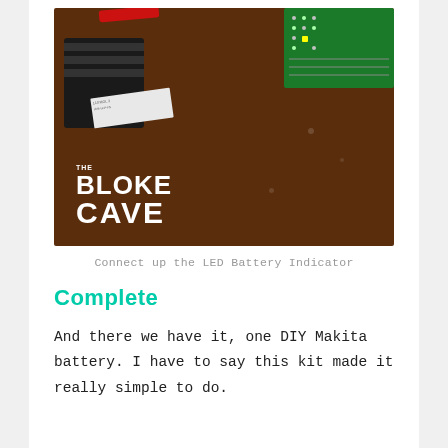[Figure (photo): Photo of a DIY Makita battery build showing a black electrical connector, red wire, a green circuit board (LED battery indicator), on a dark brown wooden surface. 'THE BLOKE CAVE' logo overlaid in white text at bottom left.]
Connect up the LED Battery Indicator
Complete
And there we have it, one DIY Makita battery. I have to say this kit made it really simple to do.